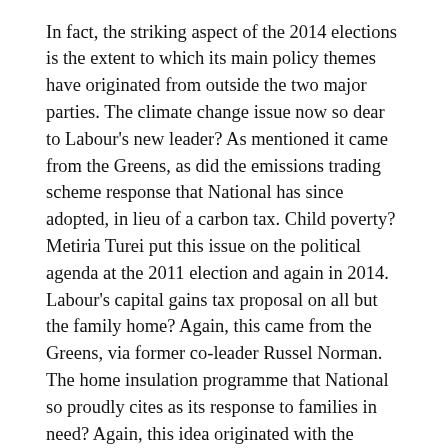In fact, the striking aspect of the 2014 elections is the extent to which its main policy themes have originated from outside the two major parties. The climate change issue now so dear to Labour's new leader? As mentioned it came from the Greens, as did the emissions trading scheme response that National has since adopted, in lieu of a carbon tax. Child poverty? Metiria Turei put this issue on the political agenda at the 2011 election and again in 2014. Labour's capital gains tax proposal on all but the family home? Again, this came from the Greens, via former co-leader Russel Norman. The home insulation programme that National so proudly cites as its response to families in need? Again, this idea originated with the Greens. Time and again, this supposedly flaky party has generated policy ideas initially treated as scary and wacky and anti-business – and then quietly mainstreamed by both Labour and National, without the sky falling, or the economy tanking.
It's a vision thing. Or the lack thereof. Looking across the political landscape, it is striking how few of its main features originated with the National Party. They've been a vision-free zone for decades. Kiwibank? That originated with the scary